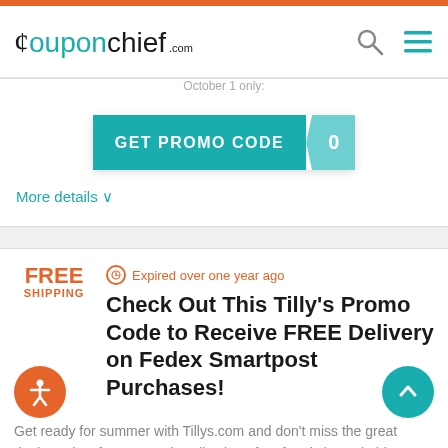[Figure (screenshot): CouponChief.com website header with logo on left and search/menu icons on right]
October 1 only:
GET PROMO CODE 0
More details ∨
Expired over one year ago
Check Out This Tilly's Promo Code to Receive FREE Delivery on Fedex Smartpost Purchases!
Get ready for summer with Tillys.com and don't miss the great deals! Select from a trendy collection of surf and skate clothing, shoes or accessories &... more